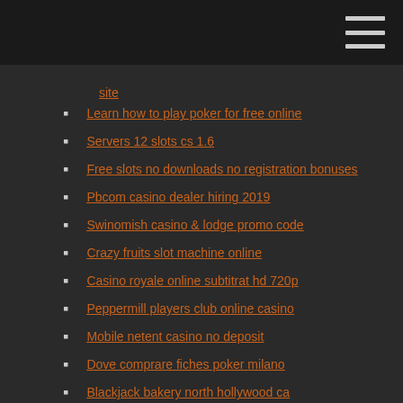site
Learn how to play poker for free online
Servers 12 slots cs 1.6
Free slots no downloads no registration bonuses
Pbcom casino dealer hiring 2019
Swinomish casino & lodge promo code
Crazy fruits slot machine online
Casino royale online subtitrat hd 720p
Peppermill players club online casino
Mobile netent casino no deposit
Dove comprare fiches poker milano
Blackjack bakery north hollywood ca
Fair go free no deposit bonus codes 2019
River cree casino west edmonton